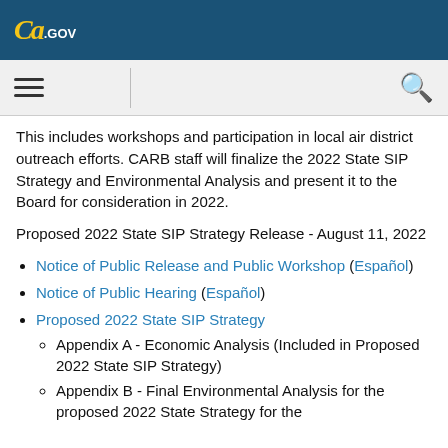CA.GOV
This includes workshops and participation in local air district outreach efforts. CARB staff will finalize the 2022 State SIP Strategy and Environmental Analysis and present it to the Board for consideration in 2022.
Proposed 2022 State SIP Strategy Release - August 11, 2022
Notice of Public Release and Public Workshop (Español)
Notice of Public Hearing (Español)
Proposed 2022 State SIP Strategy
Appendix A - Economic Analysis (Included in Proposed 2022 State SIP Strategy)
Appendix B - Final Environmental Analysis for the proposed 2022 State Strategy for the